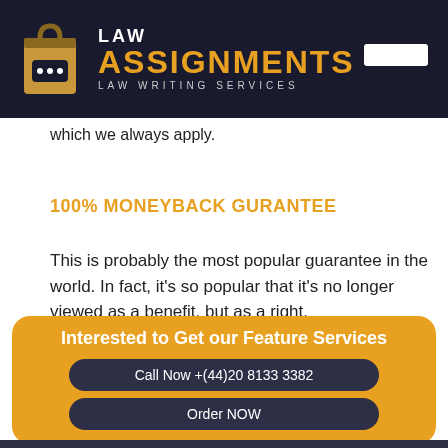[Figure (logo): Law Assignments logo with book/document icon, text LAW ASSIGNMENTS LAW WRITING SERVICES on dark navy background]
which we always apply.
100% MONEYBACK GURANTEE
This is probably the most popular guarantee in the world. In fact, it's so popular that it's no longer viewed as a benefit, but as a right.
Interested to Get our Feature Services
Call Now +(44)20 8133 3382
Order NOW